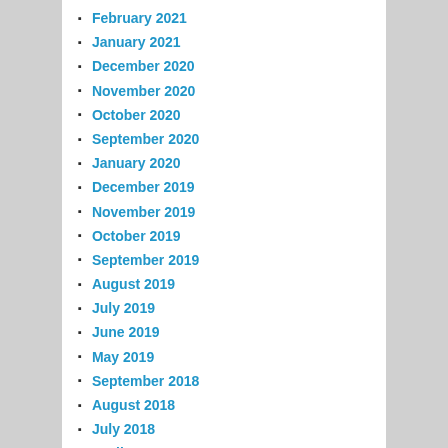February 2021
January 2021
December 2020
November 2020
October 2020
September 2020
January 2020
December 2019
November 2019
October 2019
September 2019
August 2019
July 2019
June 2019
May 2019
September 2018
August 2018
July 2018
April 2018
January 2018
October 2017
June 2017